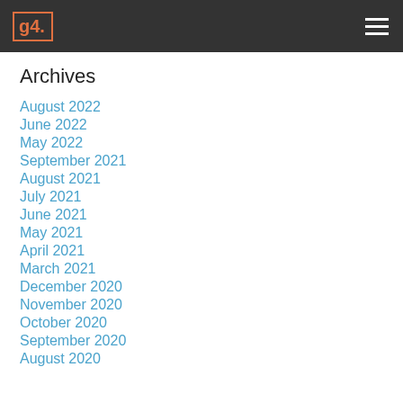g4.
Archives
August 2022
June 2022
May 2022
September 2021
August 2021
July 2021
June 2021
May 2021
April 2021
March 2021
December 2020
November 2020
October 2020
September 2020
August 2020